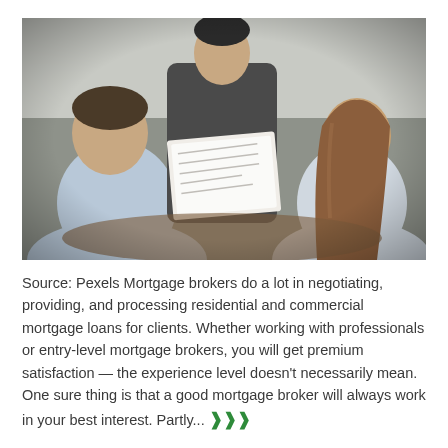[Figure (photo): A mortgage broker or advisor sitting across a desk from two clients (seen from behind), holding up a document or paperwork for them to review. The setting appears to be an office consultation.]
Source: Pexels Mortgage brokers do a lot in negotiating, providing, and processing residential and commercial mortgage loans for clients. Whether working with professionals or entry-level mortgage brokers, you will get premium satisfaction — the experience level doesn't necessarily mean. One sure thing is that a good mortgage broker will always work in your best interest. Partly... ›››